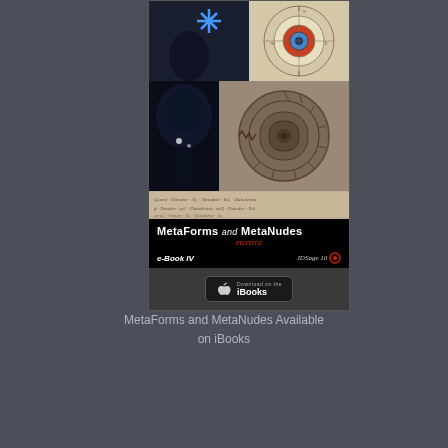[Figure (illustration): Book cover for 'MetaForms and MetaNudes etcetera e-Book IV' showing a collage of images including an ammonite fossil, a figure in blue light, ancient manuscript text, and an iBooks download badge. Dark/black background with bold white and red title text.]
MetaForms and MetaNudes Available on iBooks